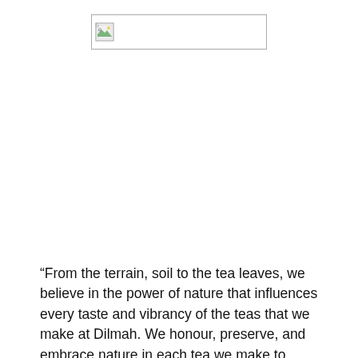[Figure (logo): Broken image placeholder with a small image icon in the top-left corner, displayed inside a rectangular border]
“From the terrain, soil to the tea leaves, we believe in the power of nature that influences every taste and vibrancy of the teas that we make at Dilmah. We honour, preserve, and embrace nature in each tea we make to enable families to enjoy every sip. We are so